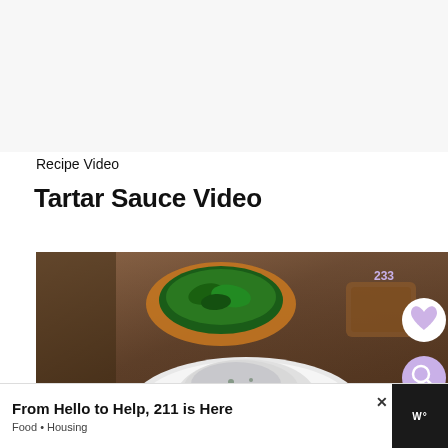Recipe Video
Tartar Sauce Video
[Figure (photo): A food photo showing a bowl of tartar sauce (white creamy sauce) in a white dish on a wooden surface, with a small clay bowl of green herbs in the background. Two circular UI buttons (heart/favorite and search) are overlaid on the right side, along with a counter showing 233.]
From Hello to Help, 211 is Here
Food • Housing